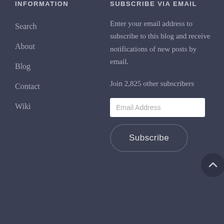INFORMATION
Search
About
Blog
Contact
Wiki
SUBSCRIBE VIA EMAIL
Enter your email address to subscribe to this blog and receive notifications of new posts by email.
Join 2,825 other subscribers
[Figure (screenshot): Email Address input field (white text box) and a Subscribe button (dark rounded rectangle) and a scroll-to-top button (dark circle with up caret)]